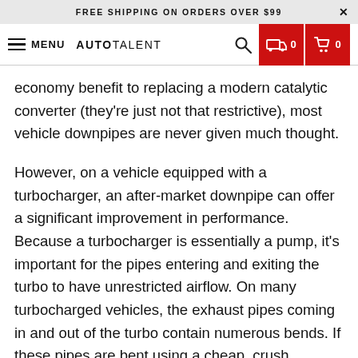FREE SHIPPING ON ORDERS OVER $99
MENU  AUTOTALENT
economy benefit to replacing a modern catalytic converter (they're just not that restrictive), most vehicle downpipes are never given much thought.
However, on a vehicle equipped with a turbocharger, an after-market downpipe can offer a significant improvement in performance. Because a turbocharger is essentially a pump, it's important for the pipes entering and exiting the turbo to have unrestricted airflow. On many turbocharged vehicles, the exhaust pipes coming in and out of the turbo contain numerous bends. If these pipes are bent using a cheap, crush bending process (a common situation for